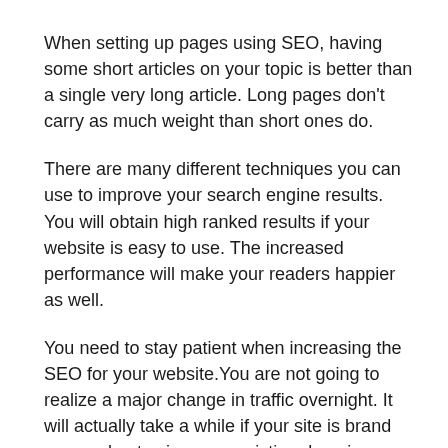When setting up pages using SEO, having some short articles on your topic is better than a single very long article. Long pages don't carry as much weight than short ones do.
There are many different techniques you can use to improve your search engine results. You will obtain high ranked results if your website is easy to use. The increased performance will make your readers happier as well.
You need to stay patient when increasing the SEO for your website.You are not going to realize a major change in traffic overnight. It will actually take a while if your site is brand new and not using a preexisting domain name. It takes time for an online business to establish a name, just as it does with an offline business.